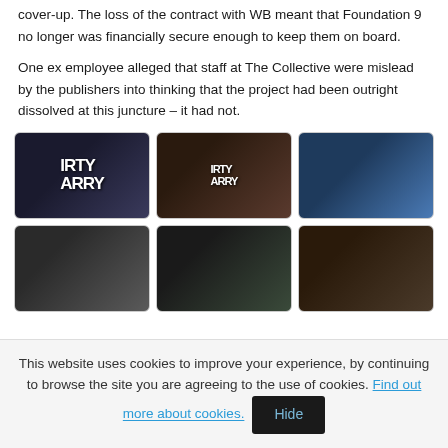cover-up. The loss of the contract with WB meant that Foundation 9 no longer was financially secure enough to keep them on board.
One ex employee alleged that staff at The Collective were mislead by the publishers into thinking that the project had been outright dissolved at this juncture – it had not.
[Figure (photo): Six screenshots from a Dirty Harry video game showing game cover art, gameplay scenes with a character aiming a gun, and character close-ups, arranged in a 2-row grid of 3 images each.]
This website uses cookies to improve your experience, by continuing to browse the site you are agreeing to the use of cookies. Find out more about cookies. Hide